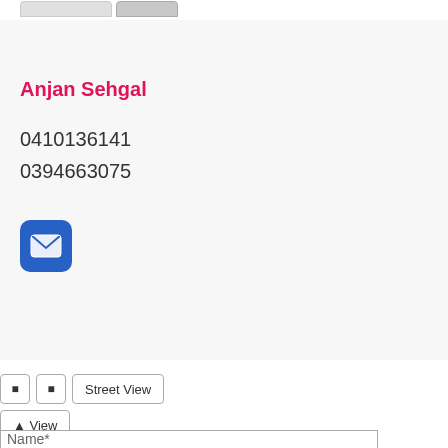[Figure (other): Two tab buttons at the top of the page — an inactive wider tab and an active narrower tab]
Anjan Sehgal
0410136141
0394663075
[Figure (other): Blue rounded square icon with a white email/letter envelope symbol]
Street View
View
Name*